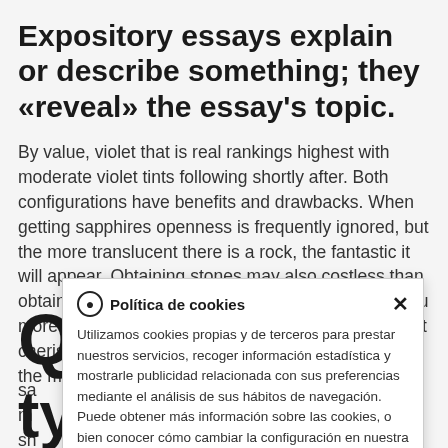Expository essays explain or describe something; they «reveal» the essay's topic.
By value, violet that is real rankings highest with moderate violet tints following shortly after. Both configurations have benefits and drawbacks. When getting sapphires openness is frequently ignored, but the more translucent there is a rock, the fantastic it will appear. Obtaining stones may also costless than obtaining preset pebbles, and loose stones allow you more chance to modify jewelry's little bit. As the most cherished, nevertheless, it is furthermore essentially the most costly. Because the quality of sa... m... sh... lo...
[Figure (screenshot): Cookie consent popup dialog in Spanish. Title: 'Política de cookies'. Body text: 'Utilizamos cookies propias y de terceros para prestar nuestros servicios, recoger información estadística y mostrarle publicidad relacionada con sus preferencias mediante el análisis de sus hábitos de navegación. Puede obtener más información sobre las cookies, o bien conocer cómo cambiar la configuración en nuestra Política de Cookies. Política de cookies .' Close button (X) in top right.]
Q... t...